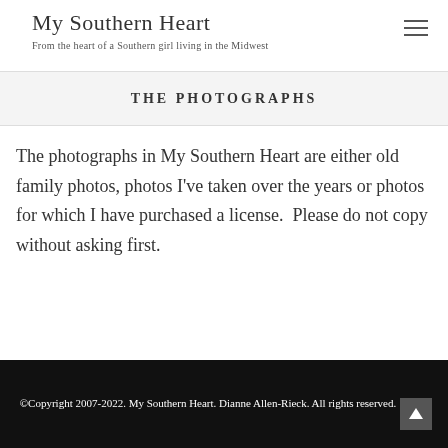My Southern Heart — From the heart of a Southern girl living in the Midwest
THE PHOTOGRAPHS
The photographs in My Southern Heart are either old family photos, photos I've taken over the years or photos for which I have purchased a license.  Please do not copy without asking first.
©Copyright 2007-2022. My Southern Heart. Dianne Allen-Rieck. All rights reserved.